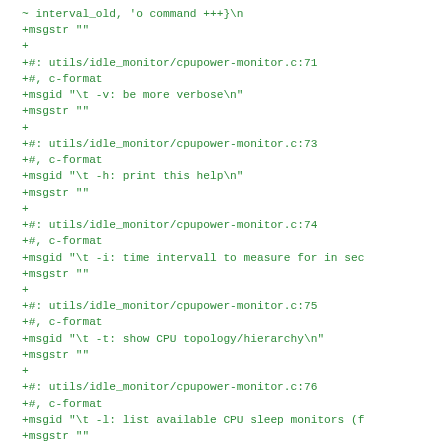~ interval_old, 'o command +++}\n
+msgstr ""
+
+#: utils/idle_monitor/cpupower-monitor.c:71
+#, c-format
+msgid "\t -v: be more verbose\n"
+msgstr ""
+
+#: utils/idle_monitor/cpupower-monitor.c:73
+#, c-format
+msgid "\t -h: print this help\n"
+msgstr ""
+
+#: utils/idle_monitor/cpupower-monitor.c:74
+#, c-format
+msgid "\t -i: time intervall to measure for in sec
+msgstr ""
+
+#: utils/idle_monitor/cpupower-monitor.c:75
+#, c-format
+msgid "\t -t: show CPU topology/hierarchy\n"
+msgstr ""
+
+#: utils/idle_monitor/cpupower-monitor.c:76
+#, c-format
+msgid "\t -l: list available CPU sleep monitors (f
+msgstr ""